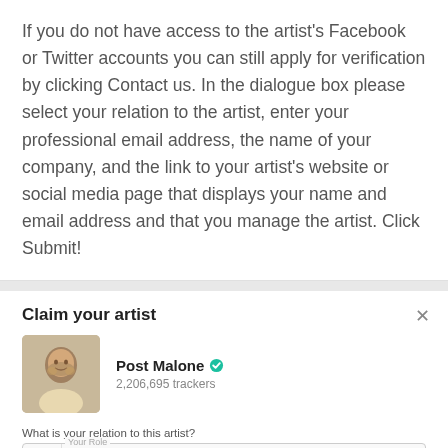If you do not have access to the artist's Facebook or Twitter accounts you can still apply for verification by clicking Contact us. In the dialogue box please select your relation to the artist, enter your professional email address, the name of your company, and the link to your artist's website or social media page that displays your name and email address and that you manage the artist. Click Submit!
[Figure (screenshot): A modal dialog titled 'Claim your artist' showing Post Malone's profile photo with a verified checkmark, 2,206,695 trackers, a dropdown for role set to Manager, an email field with ajenkins@bandsintown.com, and a Name of your company field.]